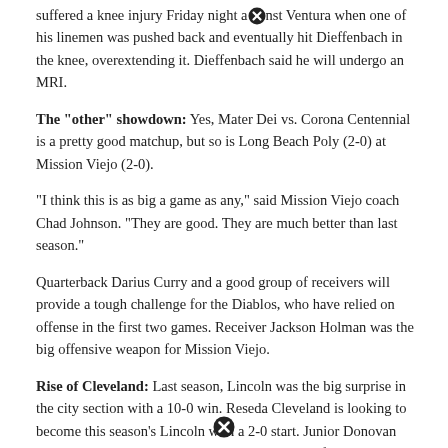suffered a knee injury Friday night against Ventura when one of his linemen was pushed back and eventually hit Dieffenbach in the knee, overextending it. Dieffenbach said he will undergo an MRI.
The "other" showdown: Yes, Mater Dei vs. Corona Centennial is a pretty good matchup, but so is Long Beach Poly (2-0) at Mission Viejo (2-0).
"I think this is as big a game as any," said Mission Viejo coach Chad Johnson. "They are good. They are much better than last season."
Quarterback Darius Curry and a good group of receivers will provide a tough challenge for the Diablos, who have relied on offense in the first two games. Receiver Jackson Holman was the big offensive weapon for Mission Viejo.
Rise of Cleveland: Last season, Lincoln was the big surprise in the city section with a 10-0 win. Reseda Cleveland is looking to become this season's Lincoln with a 2-0 start. Junior Donovan Powell had a 99-yard touchdown run and rushed for 355 yards in a win over Grant on Friday.